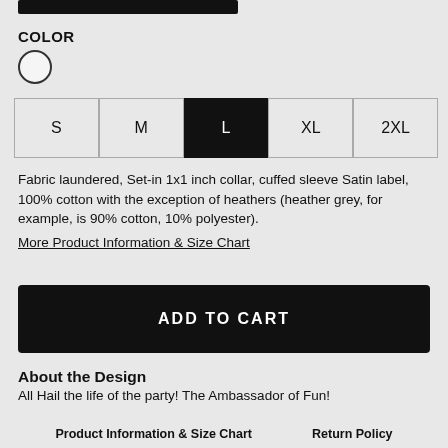COLOR
Color swatch: white/light grey circle
Size options: S, M, L (selected), XL, 2XL
Fabric laundered, Set-in 1x1 inch collar, cuffed sleeve Satin label, 100% cotton with the exception of heathers (heather grey, for example, is 90% cotton, 10% polyester).
More Product Information & Size Chart
ADD TO CART
About the Design
All Hail the life of the party! The Ambassador of Fun!
Product Information & Size Chart    Return Policy